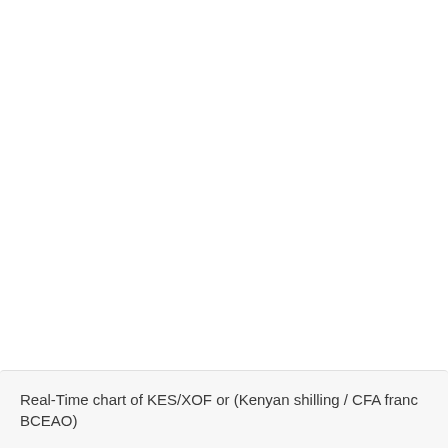Real-Time chart of KES/XOF or (Kenyan shilling / CFA franc BCEAO)